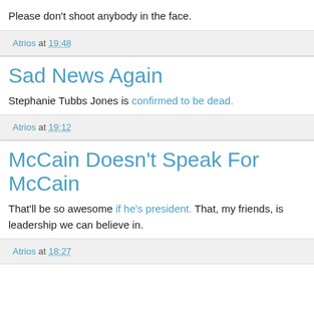Please don't shoot anybody in the face.
Atrios at 19:48
Sad News Again
Stephanie Tubbs Jones is confirmed to be dead.
Atrios at 19:12
McCain Doesn't Speak For McCain
That'll be so awesome if he's president. That, my friends, is leadership we can believe in.
Atrios at 18:27